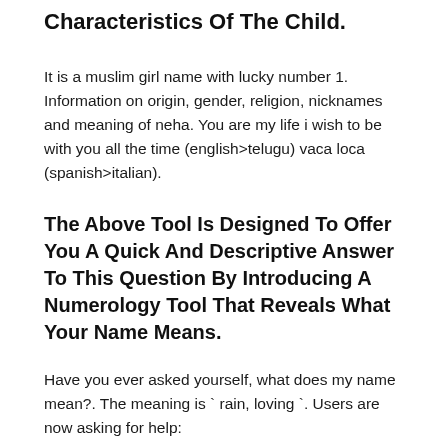Characteristics Of The Child.
It is a muslim girl name with lucky number 1. Information on origin, gender, religion, nicknames and meaning of neha. You are my life i wish to be with you all the time (english>telugu) vaca loca (spanish>italian).
The Above Tool Is Designed To Offer You A Quick And Descriptive Answer To This Question By Introducing A Numerology Tool That Reveals What Your Name Means.
Have you ever asked yourself, what does my name mean?. The meaning is ` rain, loving `. Users are now asking for help:
Category: meaning of Tags: meaning , name , neha